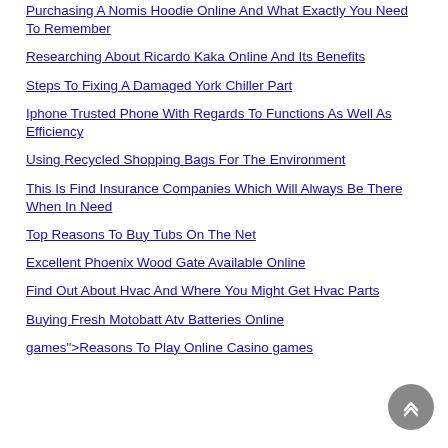Purchasing A Nomis Hoodie Online And What Exactly You Need To Remember
Researching About Ricardo Kaka Online And Its Benefits
Steps To Fixing A Damaged York Chiller Part
Iphone Trusted Phone With Regards To Functions As Well As Efficiency
Using Recycled Shopping Bags For The Environment
This Is Find Insurance Companies Which Will Always Be There When In Need
Top Reasons To Buy Tubs On The Net
Excellent Phoenix Wood Gate Available Online
Find Out About Hvac And Where You Might Get Hvac Parts
Buying Fresh Motobatt Atv Batteries Online
games">Reasons To Play Online Casino games